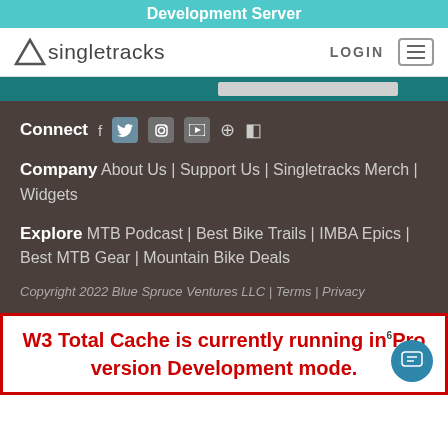Development Server
[Figure (logo): Singletracks logo with triangle icon and text 'singletracks', plus LOGIN and hamburger menu button]
Connect  f  [twitter]  [instagram]  [youtube]  [pinterest]  [flipboard]
Company  About Us | Support Us | Singletracks Merch | Widgets
Explore  MTB Podcast | Best Bike Trails | IMBA Epics | Best MTB Gear | Mountain Bike Deals
Copyright 2022 Blue Spruce Ventures LLC | Terms | Privacy
W3 Total Cache is currently running in Pro version Development mode.